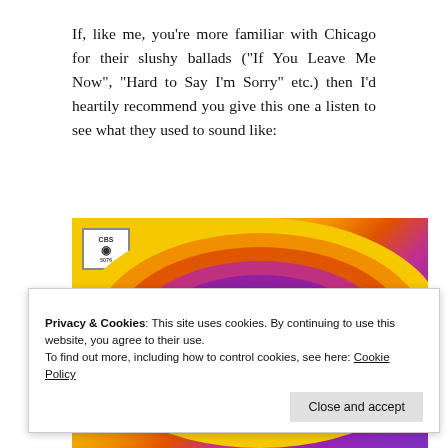If, like me, you’re more familiar with Chicago for their slushy ballads (“If You Leave Me Now”, “Hard to Say I’m Sorry” etc.) then I’d heartily recommend you give this one a listen to see what they used to sound like:
[Figure (photo): Record single cover for '25 Or 6 To 4' by Chicago on CBS label (catalog 5076). Yellow psychedelic background with concentric colorful oval shapes in orange, red, purple. Song title '25OR6TO4' in large yellow lettering, band name 'CHICAGO' in blue lettering below.]
Privacy & Cookies: This site uses cookies. By continuing to use this website, you agree to their use.
To find out more, including how to control cookies, see here: Cookie Policy
Close and accept